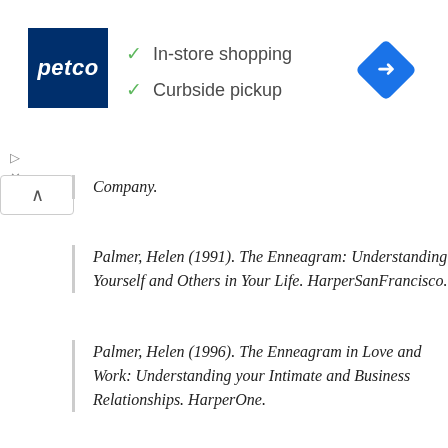[Figure (screenshot): Petco advertisement banner with logo, checkmarks for In-store shopping and Curbside pickup, and a navigation icon]
Company.
Palmer, Helen (1991). The Enneagram: Understanding Yourself and Others in Your Life. HarperSanFrancisco.
Palmer, Helen (1996). The Enneagram in Love and Work: Understanding your Intimate and Business Relationships. HarperOne.